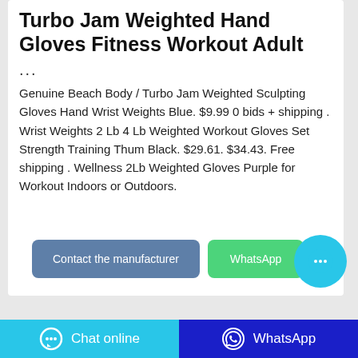Turbo Jam Weighted Hand Gloves Fitness Workout Adult
...
Genuine Beach Body / Turbo Jam Weighted Sculpting Gloves Hand Wrist Weights Blue. $9.99 0 bids + shipping . Wrist Weights 2 Lb 4 Lb Weighted Workout Gloves Set Strength Training Thum Black. $29.61. $34.43. Free shipping . Wellness 2Lb Weighted Gloves Purple for Workout Indoors or Outdoors.
[Figure (other): Button: Contact the manufacturer (blue-grey rounded rectangle)]
[Figure (other): Button: WhatsApp (green rounded rectangle)]
[Figure (other): Floating chat bubble button (cyan circle with ellipsis icon)]
[Figure (other): Bottom bar: Chat online button (cyan) and WhatsApp button (dark blue)]